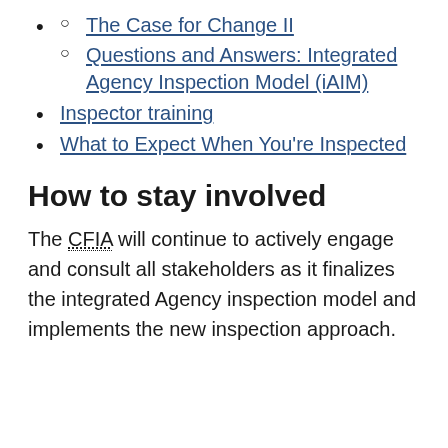The Case for Change II
Questions and Answers: Integrated Agency Inspection Model (iAIM)
Inspector training
What to Expect When You're Inspected
How to stay involved
The CFIA will continue to actively engage and consult all stakeholders as it finalizes the integrated Agency inspection model and implements the new inspection approach.